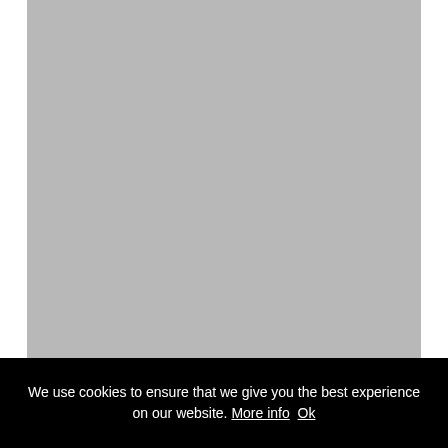[Figure (photo): Large gray placeholder image area occupying most of the page]
We use cookies to ensure that we give you the best experience on our website. More info  Ok